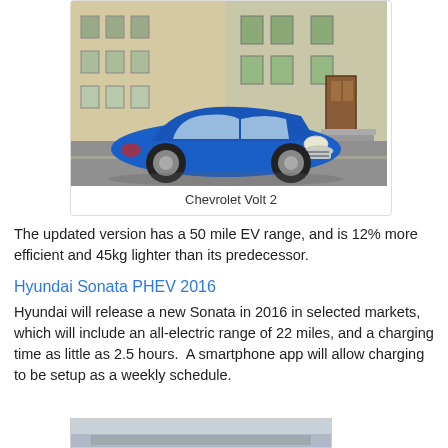[Figure (photo): Blue Chevrolet Volt 2 electric car driving on a street in front of row houses]
Chevrolet Volt 2
The updated version has a 50 mile EV range, and is 12% more efficient and 45kg lighter than its predecessor.
Hyundai Sonata PHEV 2016
Hyundai will release a new Sonata in 2016 in selected markets, which will include an all-electric range of 22 miles, and a charging time as little as 2.5 hours.  A smartphone app will allow charging to be setup as a weekly schedule.
[Figure (photo): Partial view of another car image at the bottom of the page]